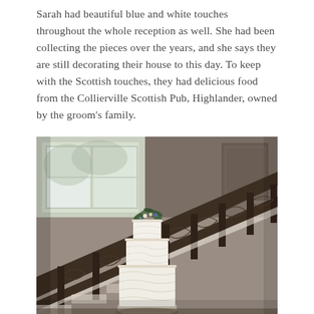Sarah had beautiful blue and white touches throughout the whole reception as well. She had been collecting the pieces over the years, and she says they are still decorating their house to this day. To keep with the Scottish touches, they had delicious food from the Collierville Scottish Pub, Highlander, owned by the groom's family.
[Figure (photo): A wedding cake topped with greenery and flowers sits on a staircase landing. The cake is white with a textured finish. Behind it is a wooden staircase railing with decorative ironwork. Natural light comes through a window in the background.]